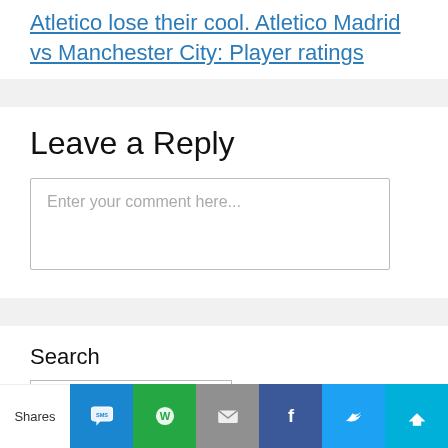Atletico lose their cool. Atletico Madrid vs Manchester City: Player ratings
Leave a Reply
Enter your comment here...
Search
Shares